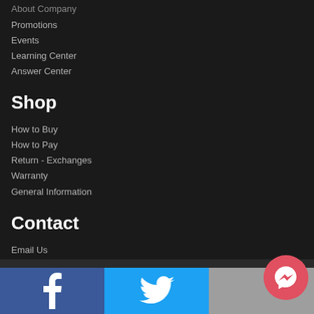About Company
Promotions
Events
Learning Center
Answer Center
Shop
How to Buy
How to Pay
Return - Exchanges
Warranty
General Information
Contact
Email Us
Contact Us
Technical Support
[Figure (other): Social media bar with Facebook, Twitter, and Messenger icons]